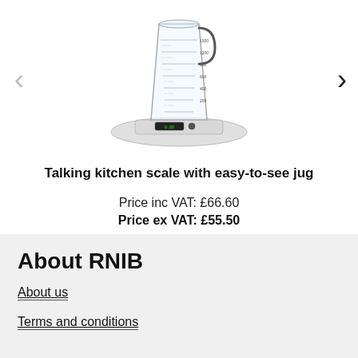[Figure (photo): A talking kitchen scale with a large measuring jug/beaker with measurement markings, sitting on a digital scale base with a display.]
Talking kitchen scale with easy-to-see jug
Price inc VAT: £66.60
Price ex VAT: £55.50
About RNIB
About us
Terms and conditions